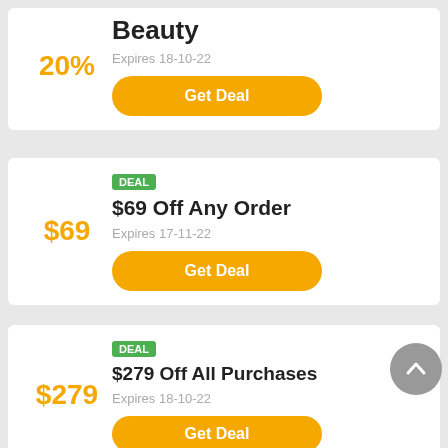20%
Beauty
Expires 18-10-22
Get Deal
DEAL
$69 Off Any Order
$69
Expires 17-11-22
Get Deal
DEAL
$279 Off All Purchases
$279
Expires 18-10-22
Get Deal